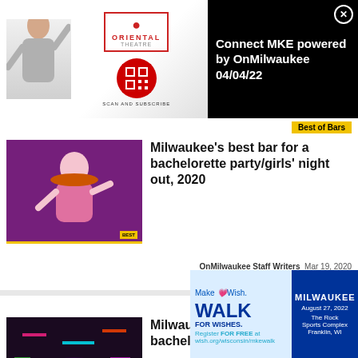[Figure (photo): Oriental Theatre banner ad with woman posing, Oriental Theatre logo with red border, QR code circle in red, 'SCAN AND SUBSCRIBE' text below]
Connect MKE powered by OnMilwaukee 04/04/22
Best of Bars
[Figure (photo): Thumbnail of a colorful bar scene with a cartoon/costumed female figure in pink holding a tray, purple curtain background, Best of Bars label]
Milwaukee's best bar for a bachelorette party/girls' night out, 2020
OnMilwaukee Staff Writers   Mar 19, 2020
Bars & Clubs
Best of Bars
[Figure (photo): Thumbnail of a dark bar interior with colorful neon lights, Best of Bars label]
Milwaukee's best bar for a bachelor party, 2020
OnMilwaukee
[Figure (infographic): Make-A-Wish Walk for Wishes overlay ad. MILWAUKEE August 27, 2022 The Rock Sports Complex Franklin, WI. Register FOR FREE at wish.org/wisconsin/mkewalk]
Bars & Clubs